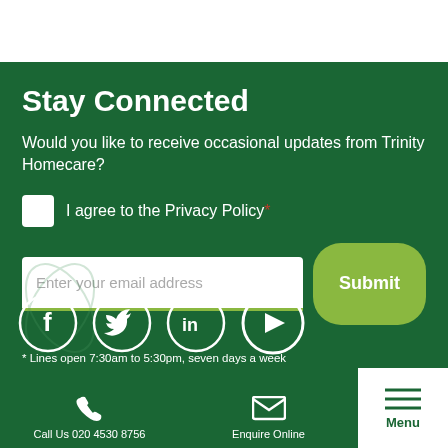Stay Connected
Would you like to receive occasional updates from Trinity Homecare?
I agree to the Privacy Policy*
Enter your email address
Submit
[Figure (infographic): Social media icons: Facebook, Twitter, LinkedIn, YouTube in white circle outlines on green background]
* Lines open 7:30am to 5:30pm, seven days a week
Call Us 020 4530 8756   Enquire Online   Menu